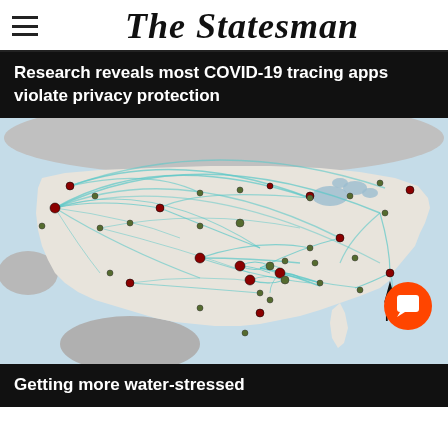The Statesman
Research reveals most COVID-19 tracing apps violate privacy protection
[Figure (map): Network map of the United States showing COVID-19 tracing connections between cities, depicted as curved teal/blue arcs between nodes (dots) across the country. A north arrow compass is visible in the lower right of the map.]
Getting more water-stressed